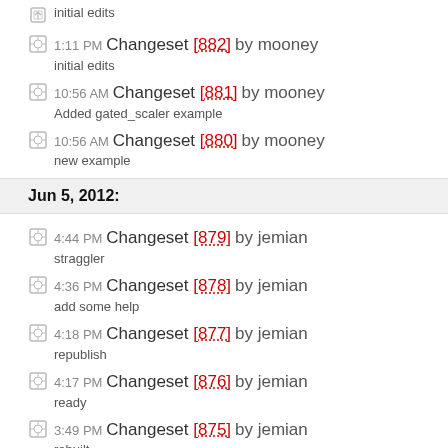initial edits
1:11 PM Changeset [882] by mooney — initial edits
10:56 AM Changeset [881] by mooney — Added gated_scaler example
10:56 AM Changeset [880] by mooney — new example
Jun 5, 2012:
4:44 PM Changeset [879] by jemian — straggler
4:36 PM Changeset [878] by jemian — add some help
4:18 PM Changeset [877] by jemian — republish
4:17 PM Changeset [876] by jemian — ready
3:49 PM Changeset [875] by jemian — rebuilt
3:47 PM Changeset [874] by jemian — refactoring